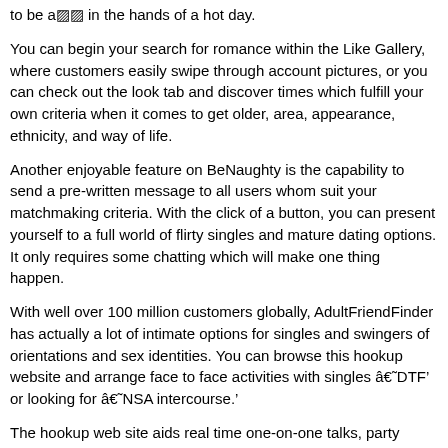to be a»« in the hands of a hot day.
You can begin your search for romance within the Like Gallery, where customers easily swipe through account pictures, or you can check out the look tab and discover times which fulfill your own criteria when it comes to get older, area, appearance, ethnicity, and way of life.
Another enjoyable feature on BeNaughty is the capability to send a pre-written message to all users whom suit your matchmaking criteria. With the click of a button, you can present yourself to a full world of flirty singles and mature dating options. It only requires some chatting which will make one thing happen.
With well over 100 million customers globally, AdultFriendFinder has actually a lot of intimate options for singles and swingers of orientations and sex identities. You can browse this hookup website and arrange face to face activities with singles â€‘DTF’ or looking for â€‘NSA intercourse.’
The hookup web site aids real time one-on-one talks, party chats, movie cam, and real time broadcasts where folks can embrace their sexual needs and fantasies without view. The AFF community is focused on intimate liberty, so you do not need to restrain while flirting with that special someone.
Whether you are telling a sensual tale during the dating discussion boards